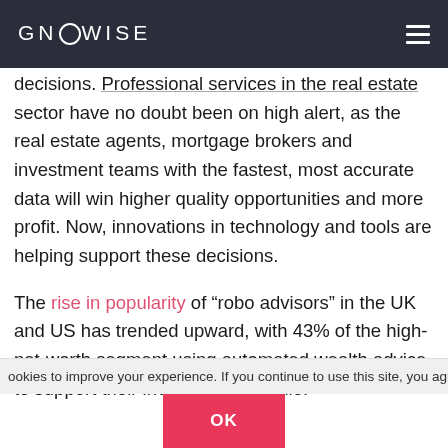GNOWISE
decisions. Professional services in the real estate sector have no doubt been on high alert, as the real estate agents, mortgage brokers and investment teams with the fastest, most accurate data will win higher quality opportunities and more profit. Now, innovations in technology and tools are helping support these decisions.
The rise in popularity of “robo advisors” in the UK and US has trended upward, with 43% of the high-net-worth segment using automated wealth advice to support their investment portfolio.
ookies to improve your experience. If you continue to use this site, you agree w
OK